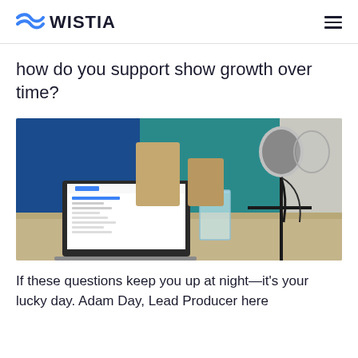WISTIA
how do you support show growth over time?
[Figure (photo): Podcast studio setup: a laptop showing the Wistia website, a glass of water, and a professional microphone on a stand, on a wooden desk. Teal accent wall in the background.]
If these questions keep you up at night—it's your lucky day. Adam Day, Lead Producer here